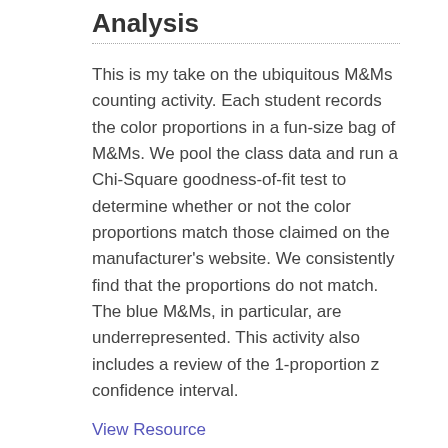Analysis
This is my take on the ubiquitous M&Ms counting activity. Each student records the color proportions in a fun-size bag of M&Ms. We pool the class data and run a Chi-Square goodness-of-fit test to determine whether or not the color proportions match those claimed on the manufacturer's website. We consistently find that the proportions do not match. The blue M&Ms, in particular, are underrepresented. This activity also includes a review of the 1-proportion z confidence interval.
View Resource
No votes yet